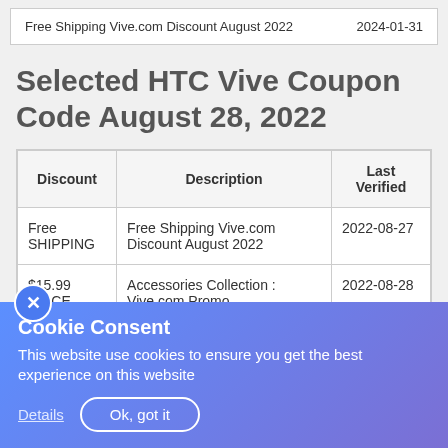Free Shipping Vive.com Discount August 2022    2024-01-31
Selected HTC Vive Coupon Code August 28, 2022
| Discount | Description | Last Verified |
| --- | --- | --- |
| Free SHIPPING | Free Shipping Vive.com Discount August 2022 | 2022-08-27 |
| $15.99 PRICE | Accessories Collection : Vive.com Promo | 2022-08-28 |
| Money Back OFFER | Money Back Guarantee - HTC Vive Coupon | 2022-08-26 |
Cookie Consent
This website use cookies to ensure you get the best experience on this website
Details   Ok, got it